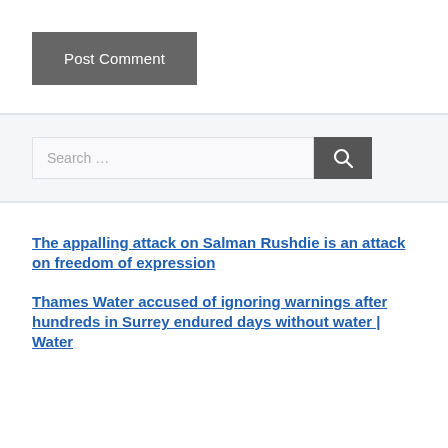Post Comment
Search …
The appalling attack on Salman Rushdie is an attack on freedom of expression
Thames Water accused of ignoring warnings after hundreds in Surrey endured days without water | Water